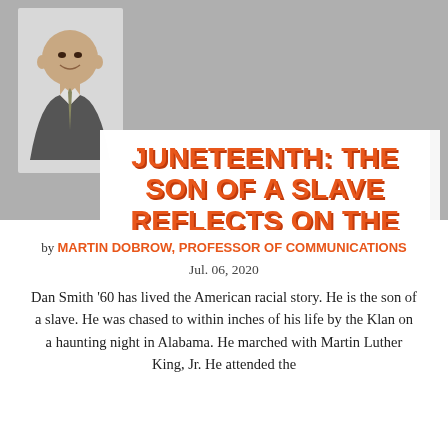[Figure (photo): Black and white portrait photo of Dan Smith in the upper left, with a gray textured background filling the top portion of the page]
JUNETEENTH: THE SON OF A SLAVE REFLECTS ON THE AMERICA HE SEES TODAY
by MARTIN DOBROW, PROFESSOR OF COMMUNICATIONS
Jul. 06, 2020
Dan Smith '60 has lived the American racial story. He is the son of a slave. He was chased to within inches of his life by the Klan on a haunting night in Alabama. He marched with Martin Luther King, Jr. He attended the